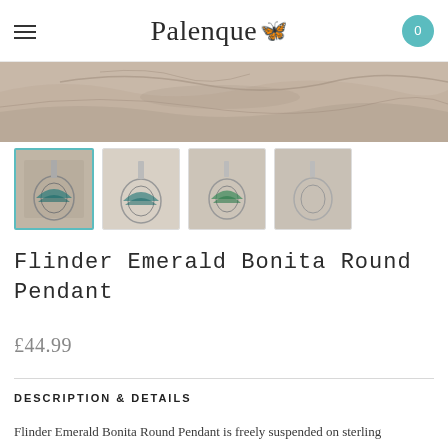Palenque
[Figure (photo): Hero banner image showing cracked stone or bark texture in sandy/rose tones]
[Figure (photo): Four thumbnail images of the Flinder Emerald Bonita Round Pendant from different angles; first thumbnail is selected with teal border]
Flinder Emerald Bonita Round Pendant
£44.99
DESCRIPTION & DETAILS
Flinder Emerald Bonita Round Pendant is freely suspended on sterling